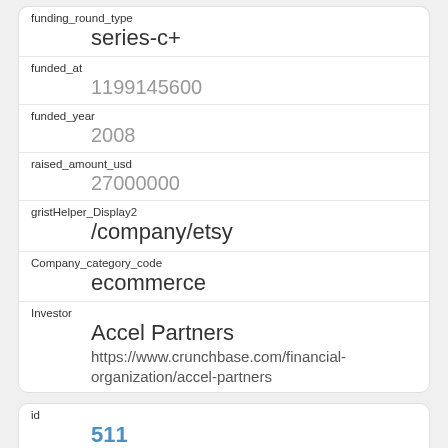| Field | Value |
| --- | --- |
| funding_round_type | series-c+ |
| funded_at | 1199145600 |
| funded_year | 2008 |
| raised_amount_usd | 27000000 |
| gristHelper_Display2 | /company/etsy |
| Company_category_code | ecommerce |
| Investor | Accel Partners
https://www.crunchbase.com/financial-organization/accel-partners |
| Field | Value |
| --- | --- |
| id | 511 |
| manualSort | 511 |